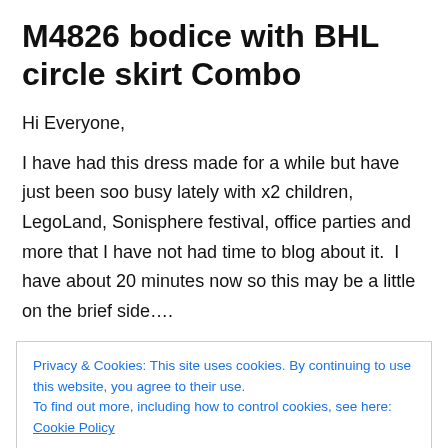M4826 bodice with BHL circle skirt Combo
Hi Everyone,
I have had this dress made for a while but have just been soo busy lately with x2 children, LegoLand, Sonisphere festival, office parties and more that I have not had time to blog about it.  I have about 20 minutes now so this may be a little on the brief side….
Privacy & Cookies: This site uses cookies. By continuing to use this website, you agree to their use.
To find out more, including how to control cookies, see here: Cookie Policy
[Close and accept button]
dress.  Now seemed the appropriate time 🙂  When I have